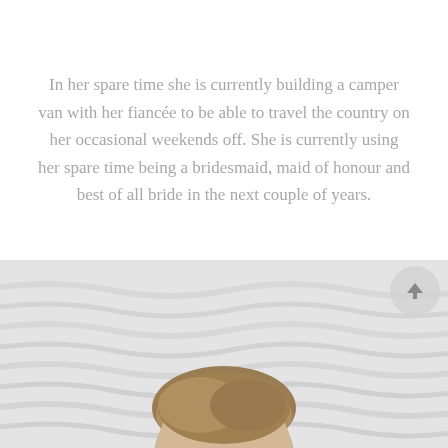In her spare time she is currently building a camper van with her fiancée to be able to travel the country on her occasional weekends off. She is currently using her spare time being a bridesmaid, maid of honour and best of all bride in the next couple of years.
[Figure (photo): Photo of a person (visible from shoulders up) in front of a white wavy textured wall background, with a circular back-to-top arrow button overlay in the upper right corner of the photo section.]